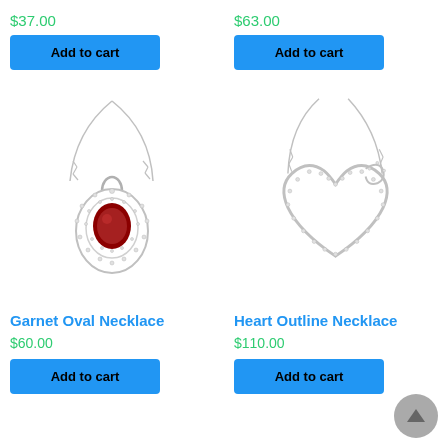$37.00
$63.00
Add to cart
Add to cart
[Figure (photo): Garnet oval pendant necklace with diamond halo on silver chain]
[Figure (photo): Heart outline necklace with diamonds on silver chain]
Garnet Oval Necklace
Heart Outline Necklace
$60.00
$110.00
Add to cart
Add to cart